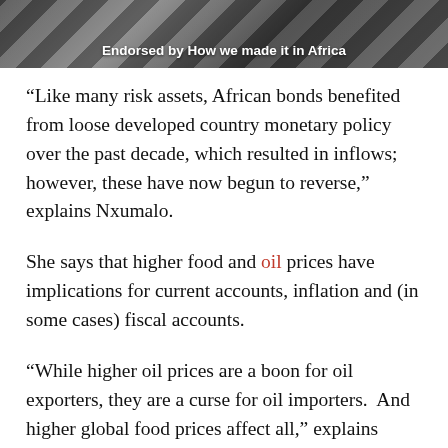[Figure (photo): Black and white striped image (zebra crossing or zebra animal) with overlay text 'Endorsed by How we made it in Africa']
“Like many risk assets, African bonds benefited from loose developed country monetary policy over the past decade, which resulted in inflows; however, these have now begun to reverse,” explains Nxumalo.
She says that higher food and oil prices have implications for current accounts, inflation and (in some cases) fiscal accounts.
“While higher oil prices are a boon for oil exporters, they are a curse for oil importers. And higher global food prices affect all,” explains Nxumalo, adding that this scenario is playing out very differently in key African countries.